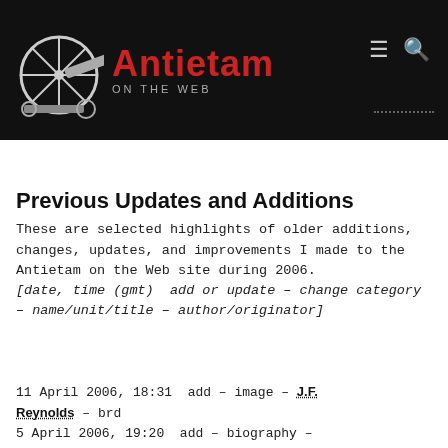[Figure (logo): Antietam on the Web website header with cannon wheel logo, red 'Antietam' title, 'ON THE WEB' subtitle, hamburger menu icon, and search icon on black background]
Previous Updates and Additions
These are selected highlights of older additions, changes, updates, and improvements I made to the Antietam on the Web site during 2006. [date, time (gmt)  add or update – change category – name/unit/title – author/originator]
11 April 2006, 18:31  add – image – J.F. Reynolds – brd
5 April 2006, 19:20  add – biography – William Willis Blackford – brd
5 April 2006, 19:17  add – image – W.W. Blackford – brd